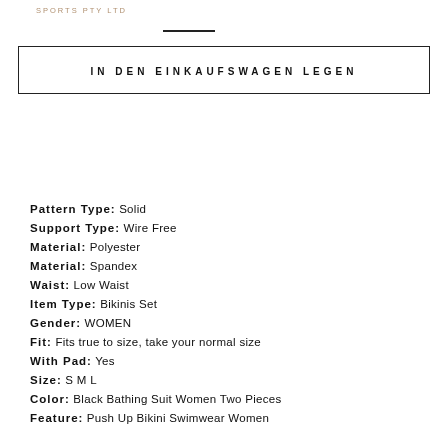SPORTS PTY LTD
IN DEN EINKAUFSWAGEN LEGEN
Pattern Type: Solid
Support Type: Wire Free
Material: Polyester
Material: Spandex
Waist: Low Waist
Item Type: Bikinis Set
Gender: WOMEN
Fit: Fits true to size, take your normal size
With Pad: Yes
Size: S M L
Color: Black Bathing Suit Women Two Pieces
Feature: Push Up Bikini Swimwear Women